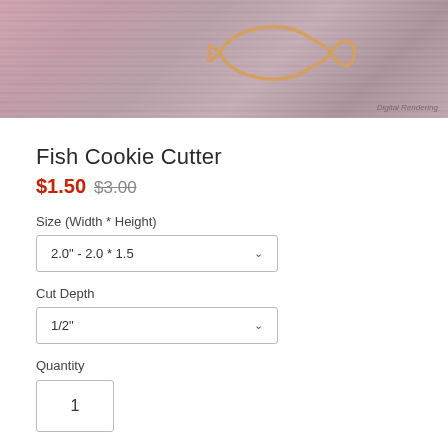[Figure (photo): Product photo showing a fish cookie cutter outline in tan/gold color on a pink and grey distressed wood background. Text 'Digital Rendering' appears in bottom right corner.]
Fish Cookie Cutter
$1.50 $3.00
Size (Width * Height)
2.0" - 2.0 * 1.5
Cut Depth
1/2"
Quantity
1